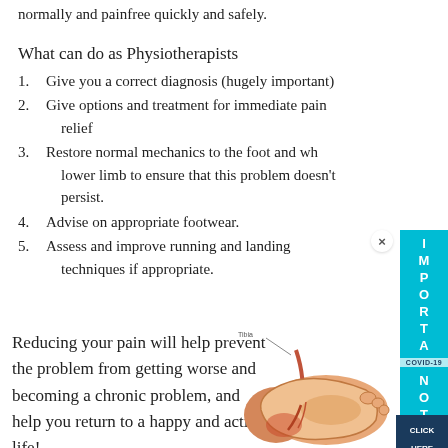normally and painfree quickly and safely.
What can do as Physiotherapists
Give you a correct diagnosis (hugely important)
Give options and treatment for immediate pain relief
Restore normal mechanics to the foot and whole lower limb to ensure that this problem doesn't persist.
Advise on appropriate footwear.
Assess and improve running and landing techniques if appropriate.
Reducing your pain will help prevent the problem from getting worse and becoming a chronic problem, and help you return to a happy and active life!
[Figure (illustration): Anatomical illustration of a human foot and ankle showing internal structures, tendons and bones with labels]